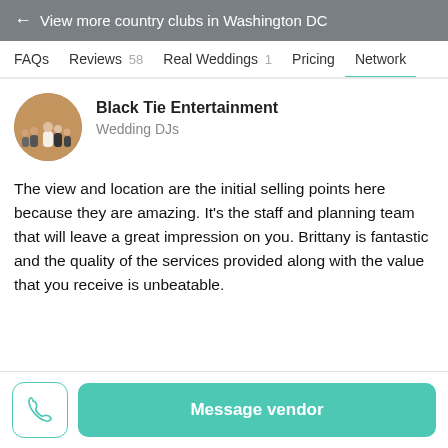← View more country clubs in Washington DC
FAQs  Reviews 58  Real Weddings 1  Pricing  Network
Black Tie Entertainment
Wedding DJs
The view and location are the initial selling points here because they are amazing. It's the staff and planning team that will leave a great impression on you. Brittany is fantastic and the quality of the services provided along with the value that you receive is unbeatable.
Message vendor